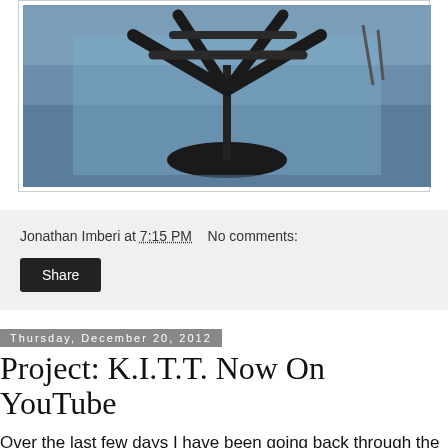[Figure (photo): Photo of a black metal frame structure/stand on a blue tarp on a workshop floor]
Jonathan Imberi at 7:15 PM   No comments:
Share
Thursday, December 20, 2012
Project: K.I.T.T. Now On YouTube
Over the last few days I have been going back through the videos I have taken so far and cleaning, editing, and uploading them in HD. I decided to create a YouTube channel for Project: K.I.T.T. and feature all of the videos in one convenient place. You can even subscribe to the channel if you would like to stay updated on the latest